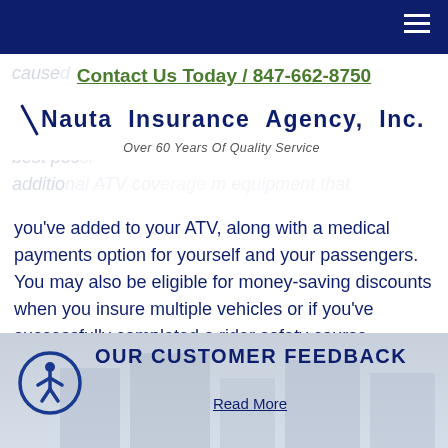Navigation bar with hamburger menu
[Figure (logo): Nauta Insurance Agency, Inc. logo with tagline 'Over 60 Years Of Quality Service']
Contact Us Today / 847-662-8750
you've added to your ATV, along with a medical payments option for yourself and your passengers. You may also be eligible for money-saving discounts when you insure multiple vehicles or if you've successfully completed a rider safety course.
Discounts and coverage options can vary according to your location and specifications. Contact one of our licensed insurance professionals to learn more about ATV insurance and how to build a recreational plan that best fits your needs.
OUR CUSTOMER FEEDBACK
Read More